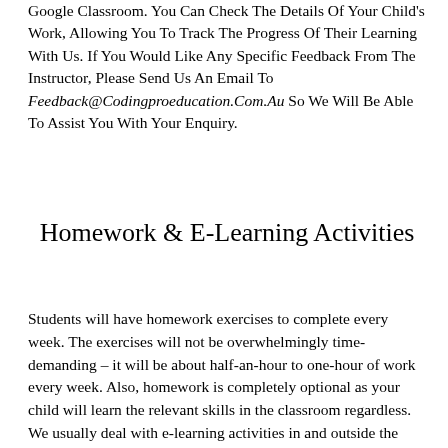Google Classroom. You Can Check The Details Of Your Child's Work, Allowing You To Track The Progress Of Their Learning With Us. If You Would Like Any Specific Feedback From The Instructor, Please Send Us An Email To Feedback@Codingproeducation.Com.Au So We Will Be Able To Assist You With Your Enquiry.
Homework & E-Learning Activities
Students will have homework exercises to complete every week. The exercises will not be overwhelmingly time-demanding – it will be about half-an-hour to one-hour of work every week. Also, homework is completely optional as your child will learn the relevant skills in the classroom regardless. We usually deal with e-learning activities in and outside the face-to-face classroom in the following ways: